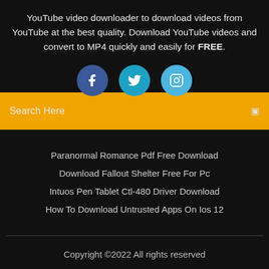YouTube video downloader to download videos from YouTube at the best quality. Download YouTube videos and convert to MP4 quickly and easily for FREE.
[Figure (other): Three social media icon circles: Facebook (dark blue), Twitter (medium blue), Instagram (light blue)]
Search Here
Paranormal Romance Pdf Free Download
Download Fallout Shelter Free For Pc
Intuos Pen Tablet Ctl-480 Driver Download
How To Download Untrusted Apps On Ios 12
Copyright ©2022 All rights reserved